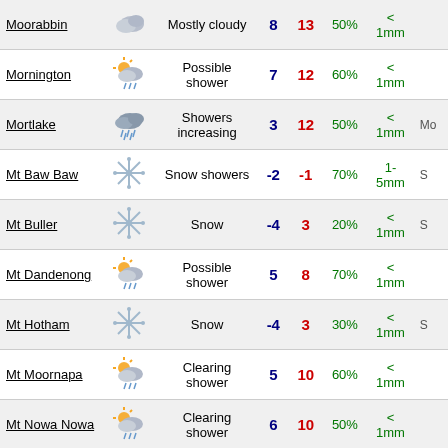| Location | Icon | Description | Min | Max | Chance | Rain | Extra |
| --- | --- | --- | --- | --- | --- | --- | --- |
| Moorabbin |  | Mostly cloudy | 8 | 13 | 50% | < 1mm |  |
| Mornington |  | Possible shower | 7 | 12 | 60% | < 1mm |  |
| Mortlake |  | Showers increasing | 3 | 12 | 50% | < 1mm | Mo |
| Mt Baw Baw |  | Snow showers | -2 | -1 | 70% | 1-5mm | S |
| Mt Buller |  | Snow | -4 | 3 | 20% | < 1mm | S |
| Mt Dandenong |  | Possible shower | 5 | 8 | 70% | < 1mm |  |
| Mt Hotham |  | Snow | -4 | 3 | 30% | < 1mm | S |
| Mt Moornapa |  | Clearing shower | 5 | 10 | 60% | < 1mm |  |
| Mt Nowa Nowa |  | Clearing shower | 6 | 10 | 50% | < 1mm |  |
| Murrayville |  | Mostly sunny | 5 | 13 | 5% | < 1mm |  |
| Nhill |  | Cloudy | 5 | 13 | 10% | < 1mm |  |